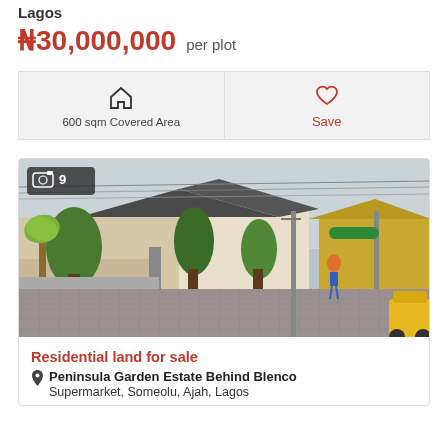Lagos
₦30,000,000 per plot
600 sqm Covered Area
Save
[Figure (photo): Street view of a residential area showing paved road, fenced properties with trees, houses with grey and yellow roofs, a man walking, and a yellow vehicle in the foreground. A green overpass or gate is visible in the background. Photo counter shows 9 images.]
Residential land for sale
Peninsula Garden Estate Behind Blenco Supermarket, Someolu, Ajah, Lagos